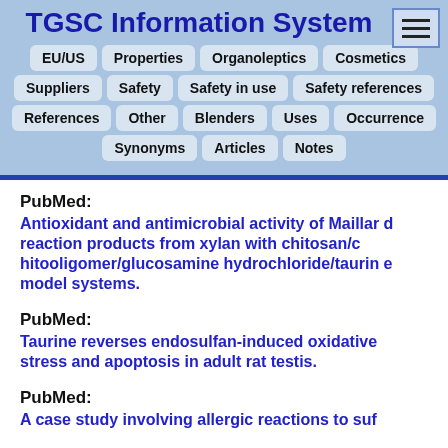TGSC Information System
EU/US | Properties | Organoleptics | Cosmetics | Suppliers | Safety | Safety in use | Safety references | References | Other | Blenders | Uses | Occurrence | Synonyms | Articles | Notes
PubMed:
Antioxidant and antimicrobial activity of Maillard reaction products from xylan with chitosan/chitooligomer/glucosamine hydrochloride/taurine model systems.
PubMed:
Taurine reverses endosulfan-induced oxidative stress and apoptosis in adult rat testis.
PubMed:
A case study involving allergic reactions to suf...